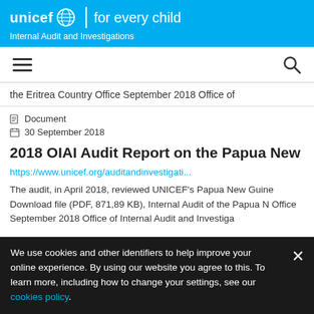unicef for every child | Internal Audit and Investigations
the Eritrea Country Office September 2018 Office of
Document
30 September 2018
2018 OIAI Audit Report on the Papua New Guine
https://www.unicef.org/auditandinvestigati...
The audit, in April 2018, reviewed UNICEF's Papua New Guine Download file (PDF, 871,89 KB), Internal Audit of the Papua N Office September 2018 Office of Internal Audit and Investiga
We use cookies and other identifiers to help improve your online experience. By using our website you agree to this. To learn more, including how to change your settings, see our cookies policy.